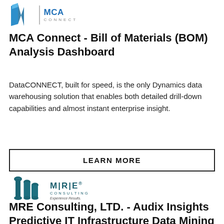[Figure (logo): MCA Connect logo — blue geometric shape on left, vertical bar separator, MCA in blue text, CONNECT in grey spaced text below]
MCA Connect - Bill of Materials (BOM) Analysis Dashboard
DataCONNECT, built for speed, is the only Dynamics data warehousing solution that enables both detailed drill-down capabilities and almost instant enterprise insight.
LEARN MORE
[Figure (logo): MRE Consulting logo — teal abstract pillars on left, M|R|E in dark teal text with CONSULTING below and Experience Results. tagline]
MRE Consulting, LTD. - Audix Insights Predictive IT Infrastructure Data Mining